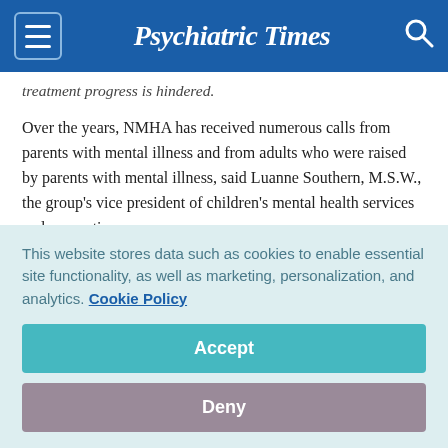Psychiatric Times
treatment progress is hindered.
Over the years, NMHA has received numerous calls from parents with mental illness and from adults who were raised by parents with mental illness, said Luanne Southern, M.S.W., the group's vice president of children's mental health services and prevention.
Often with parents, the calls concern divorce and other
This website stores data such as cookies to enable essential site functionality, as well as marketing, personalization, and analytics. Cookie Policy
Accept
Deny